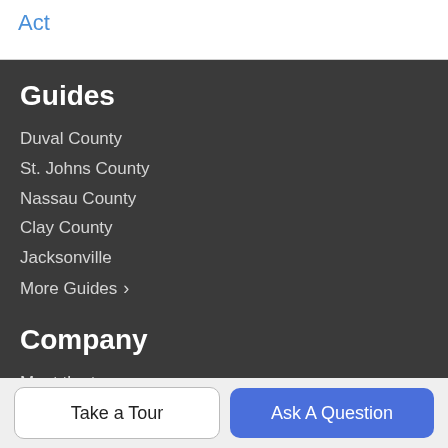Act
Guides
Duval County
St. Johns County
Nassau County
Clay County
Jacksonville
More Guides >
Company
Meet the team
Our Blog
Contact Us
Take a Tour
Ask A Question